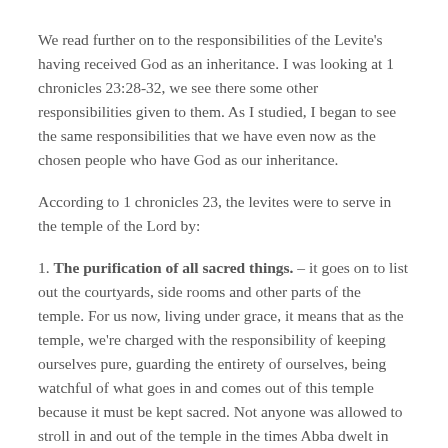We read further on to the responsibilities of the Levite's having received God as an inheritance. I was looking at 1 chronicles 23:28-32, we see there some other responsibilities given to them. As I studied, I began to see the same responsibilities that we have even now as the chosen people who have God as our inheritance.
According to 1 chronicles 23, the levites were to serve in the temple of the Lord by:
1. The purification of all sacred things. – it goes on to list out the courtyards, side rooms and other parts of the temple. For us now, living under grace, it means that as the temple, we're charged with the responsibility of keeping ourselves pure, guarding the entirety of ourselves, being watchful of what goes in and comes out of this temple because it must be kept sacred. Not anyone was allowed to stroll in and out of the temple in the times Abba dwelt in